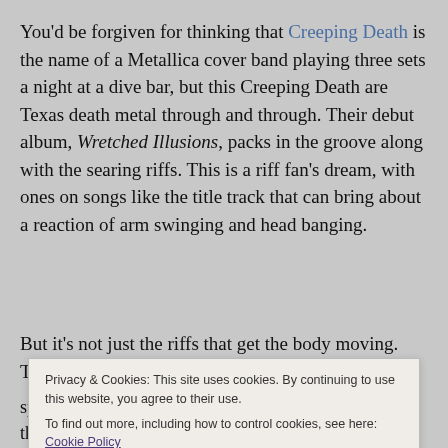You'd be forgiven for thinking that Creeping Death is the name of a Metallica cover band playing three sets a night at a dive bar, but this Creeping Death are Texas death metal through and through. Their debut album, Wretched Illusions, packs in the groove along with the searing riffs. This is a riff fan's dream, with ones on songs like the title track that can bring about a reaction of arm swinging and head banging.
But it's not just the riffs that get the body moving. The drum
Privacy & Cookies: This site uses cookies. By continuing to use this website, you agree to their use. To find out more, including how to control cookies, see here: Cookie Policy
spent writing and recording demos and EPs. allowing them